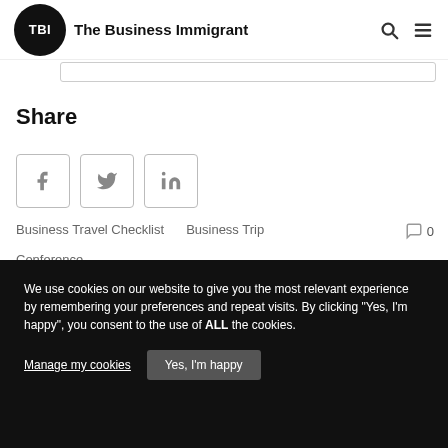TBI The Business Immigrant
Share
[Figure (infographic): Social share buttons: Facebook (f), Twitter (bird), LinkedIn (in)]
Business Travel Checklist   Business Trip   0   Conference
We use cookies on our website to give you the most relevant experience by remembering your preferences and repeat visits. By clicking “Yes, I’m happy”, you consent to the use of ALL the cookies.
Manage my cookies   Yes, I'm happy